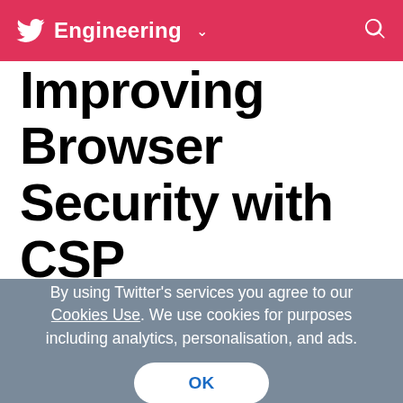Twitter Engineering
Improving Browser Security with CSP
By using Twitter's services you agree to our Cookies Use. We use cookies for purposes including analytics, personalisation, and ads.